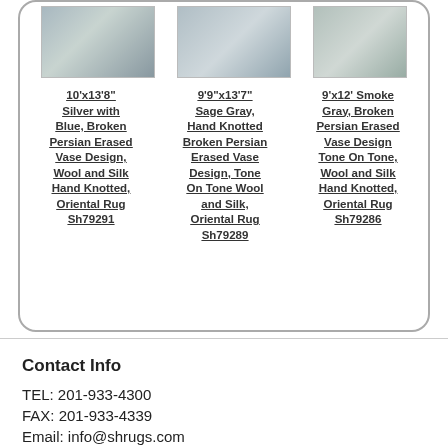[Figure (photo): Three rug product photos shown side by side at top of rounded box]
10'x13'8" Silver with Blue, Broken Persian Erased Vase Design, Wool and Silk Hand Knotted, Oriental Rug Sh79291
9'9"x13'7" Sage Gray, Hand Knotted Broken Persian Erased Vase Design, Tone On Tone Wool and Silk, Oriental Rug Sh79289
9'x12' Smoke Gray, Broken Persian Erased Vase Design Tone On Tone, Wool and Silk Hand Knotted, Oriental Rug Sh79286
Contact Info
TEL: 201-933-4300
FAX: 201-933-4339
Email: info@shrugs.com